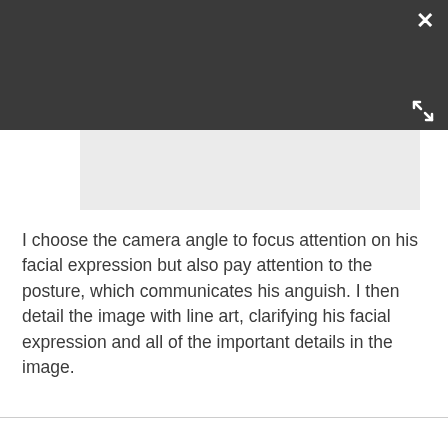[Figure (screenshot): Dark toolbar area with a white close (×) button in the top-right corner and a white expand/fullscreen icon in the lower-right of the dark bar. Below the dark bar is a light grey image placeholder rectangle.]
I choose the camera angle to focus attention on his facial expression but also pay attention to the posture, which communicates his anguish. I then detail the image with line art, clarifying his facial expression and all of the important details in the image.